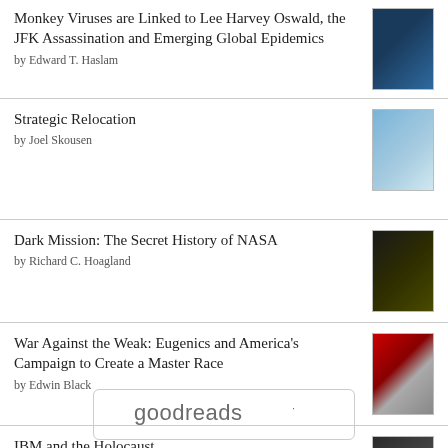Monkey Viruses are Linked to Lee Harvey Oswald, the JFK Assassination and Emerging Global Epidemics by Edward T. Haslam
Strategic Relocation by Joel Skousen
Dark Mission: The Secret History of NASA by Richard C. Hoagland
War Against the Weak: Eugenics and America's Campaign to Create a Master Race by Edwin Black
IBM and the Holocaust by Edwin Black
[Figure (logo): Goodreads logo inside a rounded rectangle border]
goodreads·